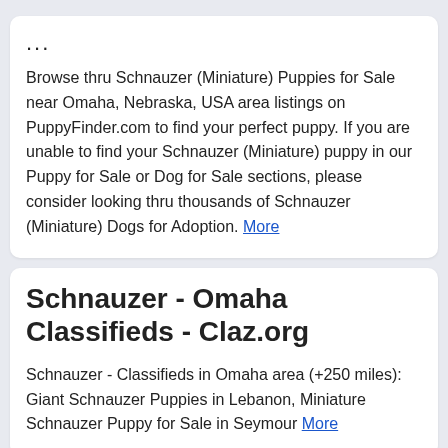...
Browse thru Schnauzer (Miniature) Puppies for Sale near Omaha, Nebraska, USA area listings on PuppyFinder.com to find your perfect puppy. If you are unable to find your Schnauzer (Miniature) puppy in our Puppy for Sale or Dog for Sale sections, please consider looking thru thousands of Schnauzer (Miniature) Dogs for Adoption. More
Schnauzer - Omaha Classifieds - Claz.org
Schnauzer - Classifieds in Omaha area (+250 miles): Giant Schnauzer Puppies in Lebanon, Miniature Schnauzer Puppy for Sale in Seymour More